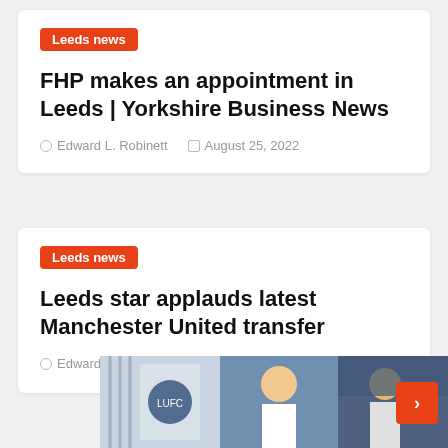Leeds news
FHP makes an appointment in Leeds | Yorkshire Business News
Edward L. Robinett   August 25, 2022
Leeds news
Leeds star applauds latest Manchester United transfer
Edward L. Robinett   August 24, 2022
[Figure (photo): Sports/news image with Leeds United branding, showing players in white kit]